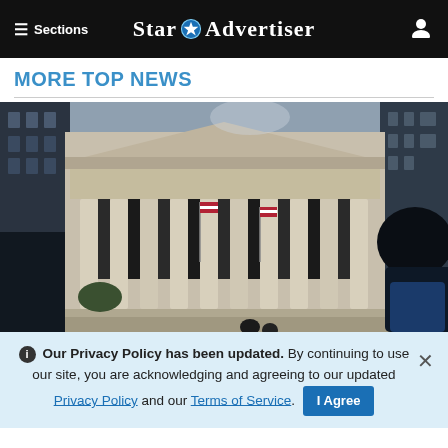≡ Sections  Star ✦ Advertiser  [user icon]
MORE TOP NEWS
[Figure (photo): Exterior of the New York Stock Exchange building with large classical columns, American flags, and a silhouette of a person in the foreground right]
ℹ Our Privacy Policy has been updated. By continuing to use our site, you are acknowledging and agreeing to our updated Privacy Policy and our Terms of Service. I Agree